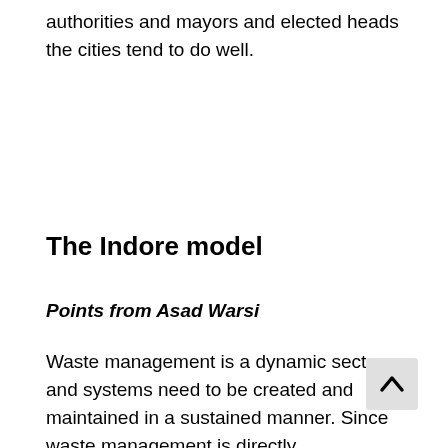authorities and mayors and elected heads the cities tend to do well.
The Indore model
Points from Asad Warsi
Waste management is a dynamic sector, and systems need to be created and maintained in a sustained manner. Since waste management is directly relat the public, the processes and practices need to be citizen